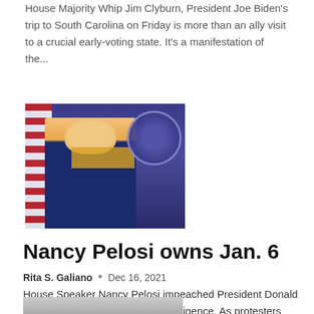House Majority Whip Jim Clyburn, President Joe Biden's trip to South Carolina on Friday is more than an ally visit to a crucial early-voting state. It's a manifestation of the...
[Figure (photo): Photo of Nancy Pelosi at a press conference, standing in front of American flags and a Congressional seal, wearing a dark blue suit with yellow top]
Nancy Pelosi owns Jan. 6
Rita S. Galiano  •  Dec 16, 2021
House Speaker Nancy Pelosi impeached President Donald Trump in January for her own negligence. As protesters flocked to the nation's capital for a day of protest - some peaceful, some not - the overlooked possibility of unrest over...
[Figure (photo): Partial photo visible at bottom of page]